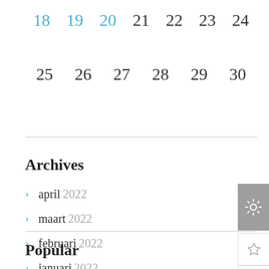| 18 | 19 | 20 | 21 | 22 | 23 | 24 |
| 25 | 26 | 27 | 28 | 29 | 30 |  |
Archives
april 2022
maart 2022
februari 2022
januari 2022
Popular